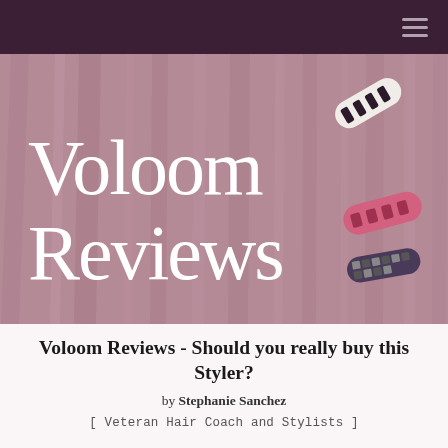[Figure (photo): Hero banner image with mauve/dusty rose wood-grain textured background displaying 'Voloom Reviews' in large white serif font, with decorative hair clips on the right side]
Voloom Reviews - Should you really buy this Styler?
by Stephanie Sanchez
[ Veteran Hair Coach and Stylists ]